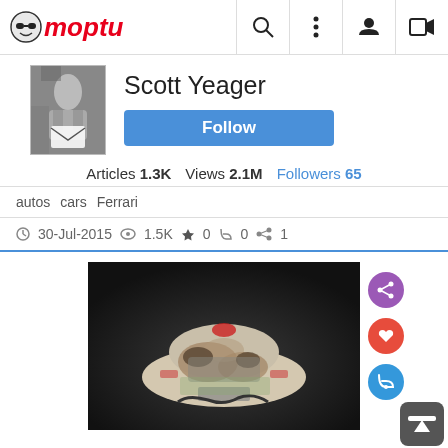Moptu — navigation bar with search, menu, profile, and login icons
[Figure (photo): Profile photo of Scott Yeager — black and white photo of a person with mail icon overlay]
Scott Yeager
Follow
Articles 1.3K  Views 2.1M  Followers 65
autos  cars  Ferrari
30-Jul-2015  1.5K  0  0  1
[Figure (photo): Photo of a heavily damaged/burned white Ferrari car viewed from the rear, on a dark background. Social share buttons (purple share, red heart, blue comment) on the right side.]
View as Desktop